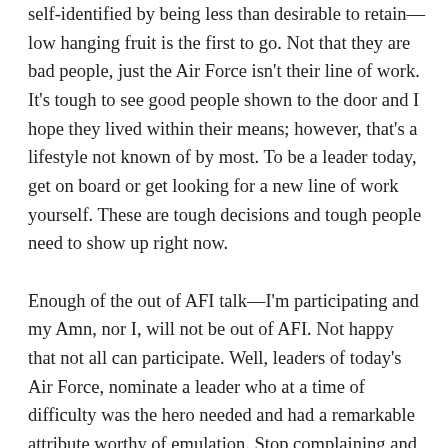self-identified by being less than desirable to retain—low hanging fruit is the first to go. Not that they are bad people, just the Air Force isn't their line of work. It's tough to see good people shown to the door and I hope they lived within their means; however, that's a lifestyle not known of by most. To be a leader today, get on board or get looking for a new line of work yourself. These are tough decisions and tough people need to show up right now. Enough of the out of AFI talk—I'm participating and my Amn, nor I, will not be out of AFI. Not happy that not all can participate. Well, leaders of today's Air Force, nominate a leader who at a time of difficulty was the hero needed and had a remarkable attribute worthy of emulation. Stop complaining and get busy with your part of making the Air Force stronger today than